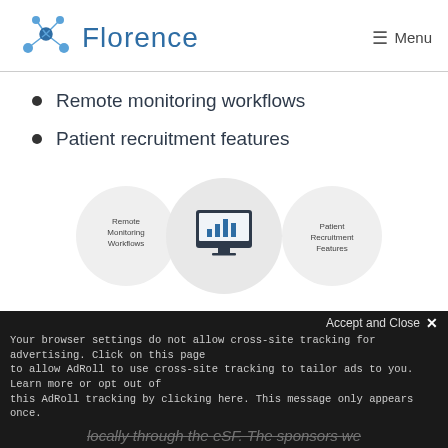[Figure (logo): Florence logo — network node icon with blue dots and lines followed by the word 'Florence' in blue text]
Menu
Remote monitoring workflows
Patient recruitment features
[Figure (infographic): Diagram showing three connected circles: 'Remote Monitoring Workflows' on the left, a central circle with a monitor/bar-chart icon, and 'Patient Recruitment Features' on the right, connected by horizontal lines]
For remote monitoring, sponsors need
Your browser settings do not allow cross-site tracking for advertising. Click on this page to allow AdRoll to use cross-site tracking to tailor ads to you. Learn more or opt out of this AdRoll tracking by clicking here. This message only appears once.
locally through the eSF. The sponsors we